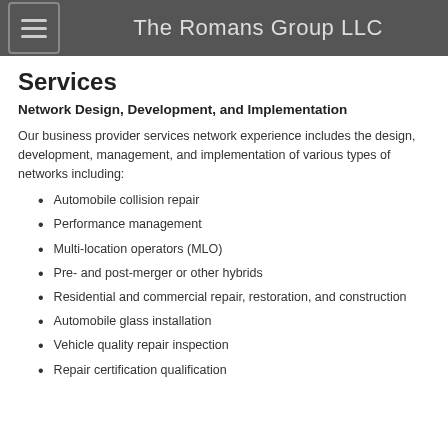The Romans Group LLC
Services
Network Design, Development, and Implementation
Our business provider services network experience includes the design, development, management, and implementation of various types of networks including:
Automobile collision repair
Performance management
Multi-location operators (MLO)
Pre- and post-merger or other hybrids
Residential and commercial repair, restoration, and construction
Automobile glass installation
Vehicle quality repair inspection
Repair certification qualification